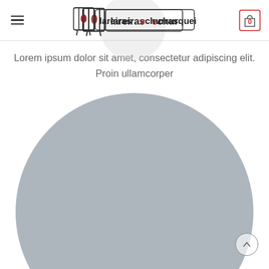lareirasechurrasqueiras — header navigation with logo and cart icon showing 0
Lorem ipsum dolor sit amet, consectetur adipiscing elit. Proin ullamcorper
[Figure (photo): Large circular grey placeholder image, partially cropped at bottom of page]